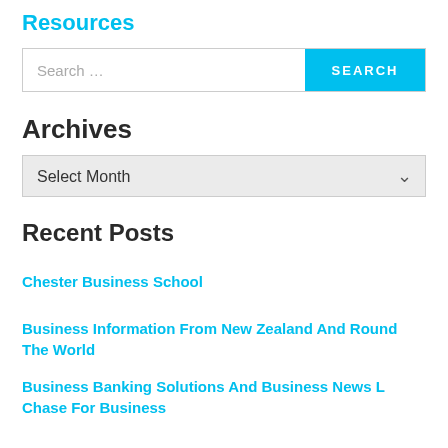Resources
[Figure (other): Search bar with text input field showing 'Search ...' placeholder and a cyan SEARCH button]
Archives
[Figure (other): Dropdown select box showing 'Select Month' with a chevron arrow]
Recent Posts
Chester Business School
Business Information From New Zealand And Round The World
Business Banking Solutions And Business News L Chase For Business